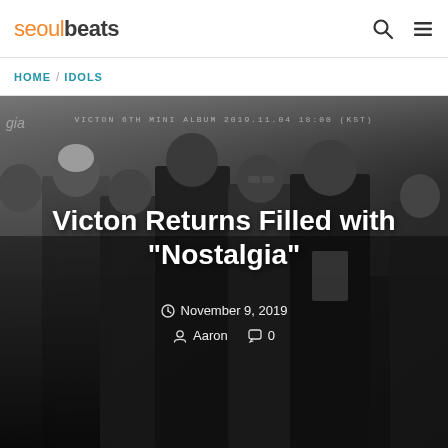seoulbeats
HOME / IDOLS
[Figure (photo): Grayscale promotional photo of Victon (K-pop group), six members standing in formal attire. Watermark text reads: VICTON 6TH MINI ALBUM 2019.11.04 18:00 (KST)]
Victon Returns Filled with "Nostalgia"
November 9, 2019
Aaron   0